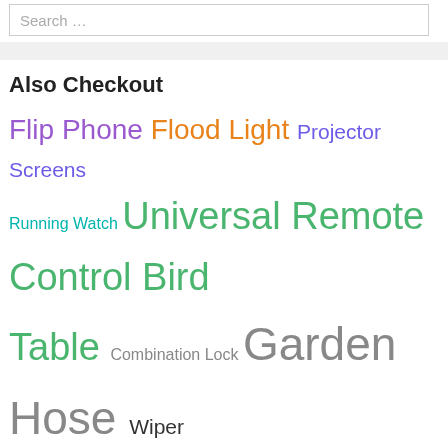Search …
Also Checkout
Flip Phone Flood Light Projector Screens Running Watch Universal Remote Control Bird Table Combination Lock Garden Hose Wiper Blades Depth Gauge 18650 Battery Draft Excluder Av Receiver Eggshell Paint Tool Box Vacuum Flask Led Work Light Electric Fuel Pump Safety Shoes Cassette Deck Bird